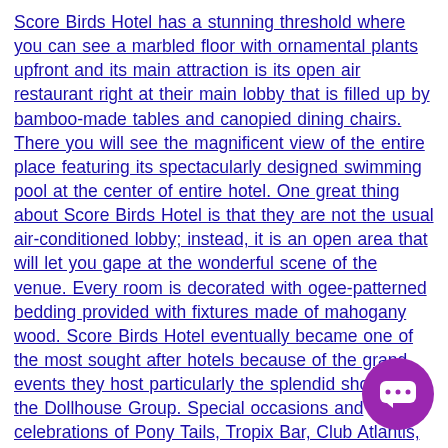Score Birds Hotel has a stunning threshold where you can see a marbled floor with ornamental plants upfront and its main attraction is its open air restaurant right at their main lobby that is filled up by bamboo-made tables and canopied dining chairs. There you will see the magnificent view of the entire place featuring its spectacularly designed swimming pool at the center of entire hotel. One great thing about Score Birds Hotel is that they are not the usual air-conditioned lobby; instead, it is an open area that will let you gape at the wonderful scene of the venue. Every room is decorated with ogee-patterned bedding provided with fixtures made of mahogany wood. Score Birds Hotel eventually became one of the most sought after hotels because of the grand events they host particularly the splendid shows of the Dollhouse Group. Special occasions and celebrations of Pony Tails, Tropix Bar, Club Atlantis, Crystal Palace, and Club Asia are frequently held at the Score Birds Hotel. Despite of the regular parties happening at the hotel, it still has an ideal location; it is located near to the entertainment district but not too far either just exactly the [...]